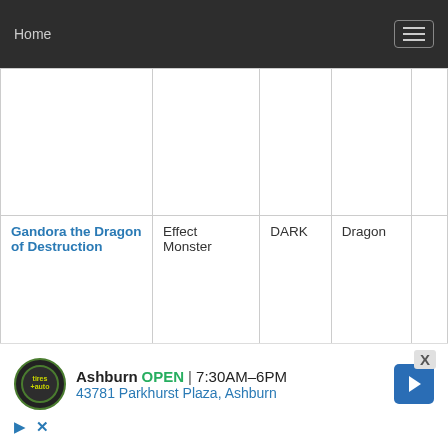Home
| Name | Type | Attribute | Race |  |
| --- | --- | --- | --- | --- |
|  |  |  |  |  |
| Gandora the Dragon of Destruction | Effect Monster | DARK | Dragon |  |
| Gandora-X the Dragon of Demolition | Effect Monster | DARK | Dragon |  |
| Gatchiri @Ignister | Effect Monster | EARTH | Cyberse |  |
[Figure (screenshot): Advertisement overlay for Tires Plus Auto in Ashburn showing OPEN status, hours 7:30AM-6PM, address 43781 Parkhurst Plaza Ashburn, with logo and navigation arrow icon]